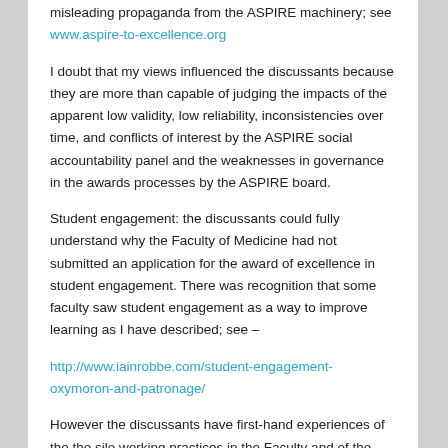misleading propaganda from the ASPIRE machinery; see www.aspire-to-excellence.org
I doubt that my views influenced the discussants because they are more than capable of judging the impacts of the apparent low validity, low reliability, inconsistencies over time, and conflicts of interest by the ASPIRE social accountability panel and the weaknesses in governance in the awards processes by the ASPIRE board.
Student engagement: the discussants could fully understand why the Faculty of Medicine had not submitted an application for the award of excellence in student engagement. There was recognition that some faculty saw student engagement as a way to improve learning as I have described; see –
http://www.iainrobbe.com/student-engagement-oxymoron-and-patronage/
However the discussants have first-hand experiences of the the silo working practices in the Faculty and of the